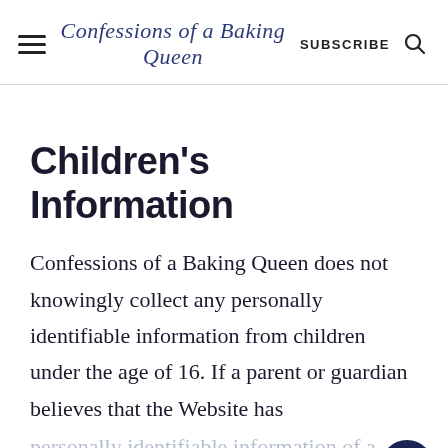≡  Confessions of a Baking Queen  SUBSCRIBE  🔍
Children's Information
Confessions of a Baking Queen does not knowingly collect any personally identifiable information from children under the age of 16. If a parent or guardian believes that the Website has personally identifiable information of a